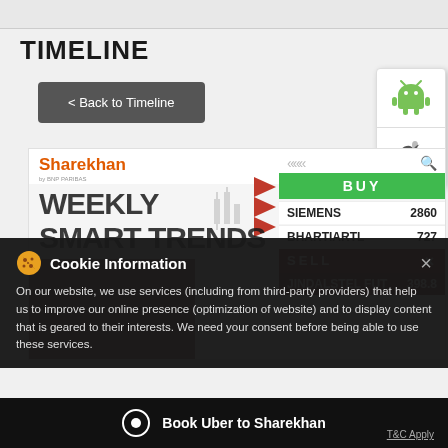TIMELINE
< Back to Timeline
[Figure (screenshot): Sharekhan app screenshot showing BUY signal for SIEMENS at 2860 and BHARTIARTL at 727, SELL signal for JINDALSTEL FUT at 398.8, with WEEKLY SMART TRENDS heading]
Cookie Information
On our website, we use services (including from third-party providers) that help us to improve our online presence (optimization of website) and to display content that is geared to their interests. We need your consent before being able to use these services.
Book Uber to Sharekhan
T&C Apply